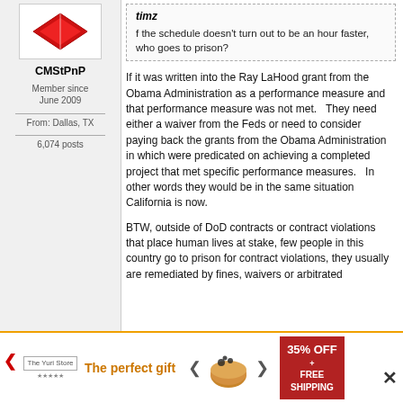[Figure (logo): Red diamond/chevron logo in white box]
CMStPnP
Member since
June 2009
From: Dallas, TX
6,074 posts
timz
f the schedule doesn't turn out to be an hour faster, who goes to prison?
If it was written into the Ray LaHood grant from the Obama Administration as a performance measure and that performance measure was not met.   They need either a waiver from the Feds or need to consider paying back the grants from the Obama Administration in which were predicated on achieving a completed project that met specific performance measures.   In other words they would be in the same situation California is now.
BTW, outside of DoD contracts or contract violations that place human lives at stake, few people in this country go to prison for contract violations, they usually are remediated by fines, waivers or arbitrated
[Figure (infographic): Advertisement banner: The perfect gift, 35% OFF + FREE SHIPPING, food bowl image with navigation arrows]